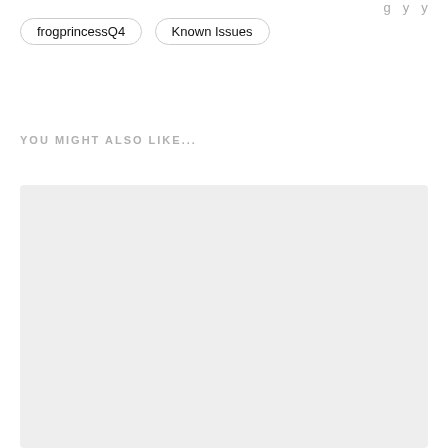frogprincessQ4   Known Issues
YOU MIGHT ALSO LIKE...
[Figure (other): Large light gray placeholder rectangle below 'YOU MIGHT ALSO LIKE...' section header]